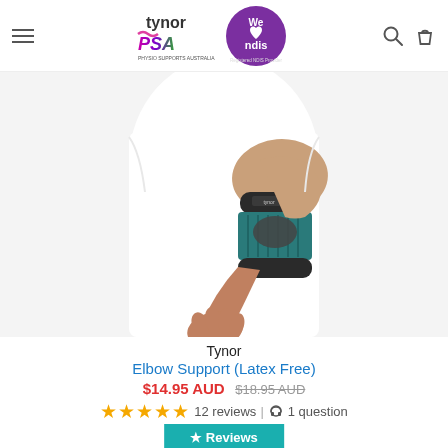Tynor PSA | We love ndis - Registered NDIS Provider
[Figure (photo): A person wearing a Tynor elbow support brace (latex free), shown on the right elbow against a white background. The brace is dark grey/black with teal/blue accents.]
Tynor
Elbow Support (Latex Free)
$14.95 AUD $18.95 AUD
12 reviews | 1 question
★ Reviews